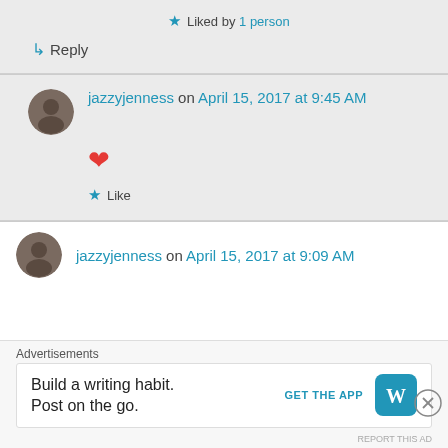★ Liked by 1 person
↳ Reply
jazzyjenness on April 15, 2017 at 9:45 AM
❤
★ Like
jazzyjenness on April 15, 2017 at 9:09 AM
Advertisements
Build a writing habit. Post on the go.
GET THE APP